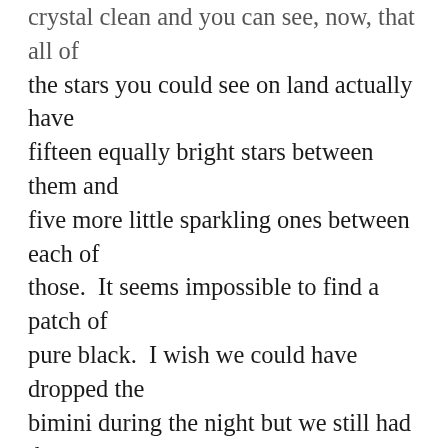crystal clean and you can see, now, that all of the stars you could see on land actually have fifteen equally bright stars between them and five more little sparkling ones between each of those.  It seems impossible to find a patch of pure black.  I wish we could have dropped the bimini during the night but we still had the lightning storm on our stern, although it was far off in the distance–just a mesmerizing natural wonder to watch and wonder about.  I hated that we were still motoring but the wind was still so light–blowing maybe five knots–right on our nose.  The motor on the Nonsuch was chugging right along, though, impressing us all.  And Mitch was blessed with a linear-drive AutoHelm 6000 on the Nonsuch.  That thing held in twice the weather as the little wheel-pilot AutoHelm